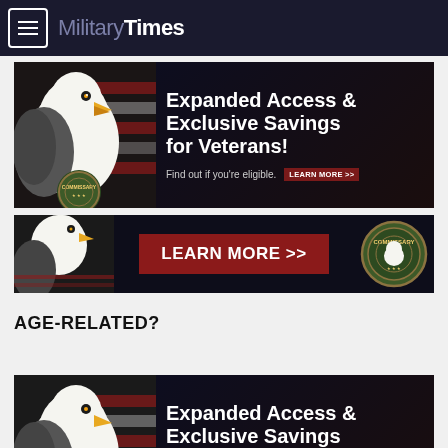MilitaryTimes
[Figure (screenshot): Commissary advertisement banner: bald eagle with American flag, text 'Expanded Access & Exclusive Savings for Veterans! Find out if you're eligible. LEARN MORE >>']
[Figure (screenshot): Commissary advertisement banner: bald eagle image with red 'LEARN MORE >>' button and Commissary badge]
AGE-RELATED?
Using the first two allocation units showing that military...
[Figure (screenshot): Commissary advertisement banner (partial, bottom): bald eagle with American flag, text 'Expanded Access & Exclusive Savings for Veterans! Find out if you're eligible.']